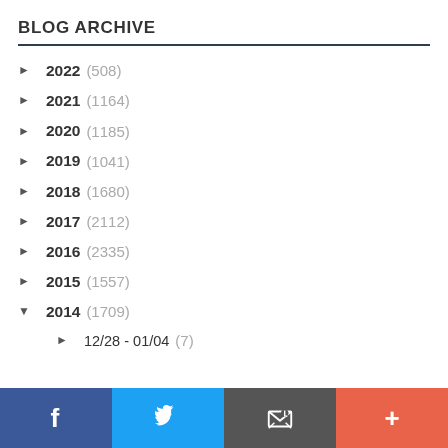BLOG ARCHIVE
► 2022 (508)
► 2021 (1164)
► 2020 (1185)
► 2019 (1041)
► 2018 (1680)
► 2017 (2112)
► 2016 (2335)
► 2015 (1557)
▼ 2014 (1709)
► 12/28 - 01/04 (7)
Facebook | Twitter | Email | +